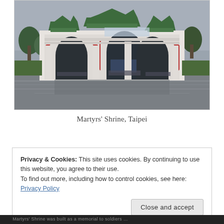[Figure (photo): Photograph of the Martyrs' Shrine gate in Taipei. A large traditional Chinese-style white ceremonial gate with three arched openings decorated in red, topped with green-tiled pagoda roofs. People are visible near the arches. The sky is overcast and gray. The foreground shows a wet reflective plaza.]
Martyrs' Shrine, Taipei
Privacy & Cookies: This site uses cookies. By continuing to use this website, you agree to their use.
To find out more, including how to control cookies, see here: Privacy Policy
Close and accept